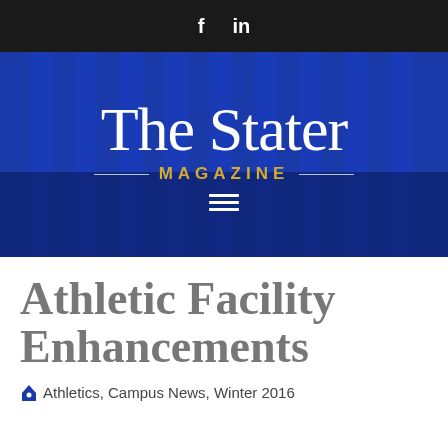f  in
[Figure (logo): The Stater Magazine logo on a blue background with a faint building/columns photograph. Large white serif text 'The Stater' with golden 'MAGAZINE' subtitle flanked by horizontal lines, and a hamburger menu icon below.]
Athletic Facility Enhancements
Athletics, Campus News, Winter 2016